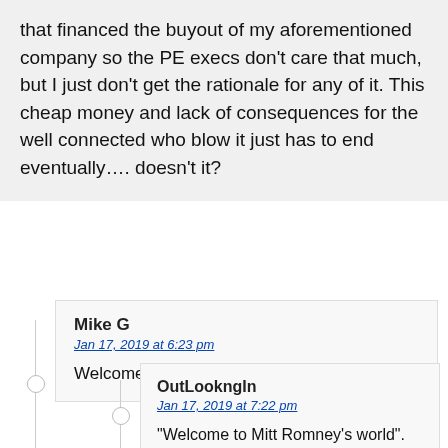that financed the buyout of my aforementioned company so the PE execs don't care that much, but I just don't get the rationale for any of it. This cheap money and lack of consequences for the well connected who blow it just has to end eventually…. doesn't it?
Mike G
Jan 17, 2019 at 6:23 pm
Welcome to Mitt Romney's world.
OutLookngIn
Jan 17, 2019 at 7:22 pm
“Welcome to Mitt Romney’s world”.